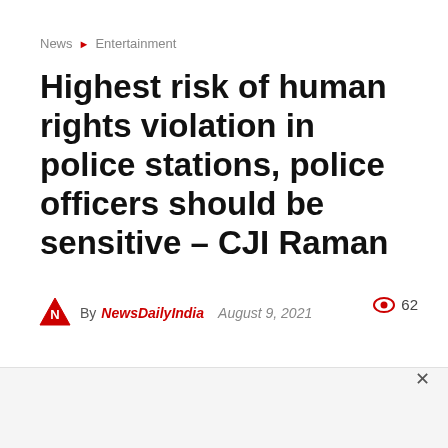News ▶ Entertainment
Highest risk of human rights violation in police stations, police officers should be sensitive – CJI Raman
By NewsDailyIndia   August 9, 2021   👁 62